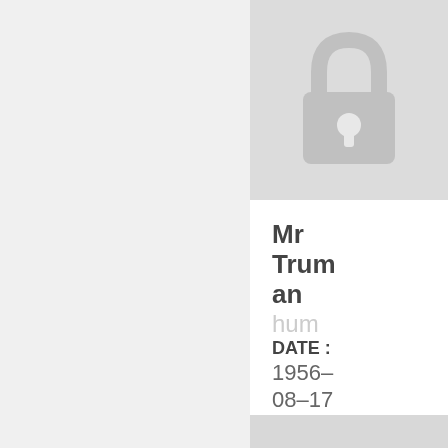[Figure (illustration): A gray padlock icon centered on a light gray background panel]
Mr Truman
hum
DATE : 1956-08-17